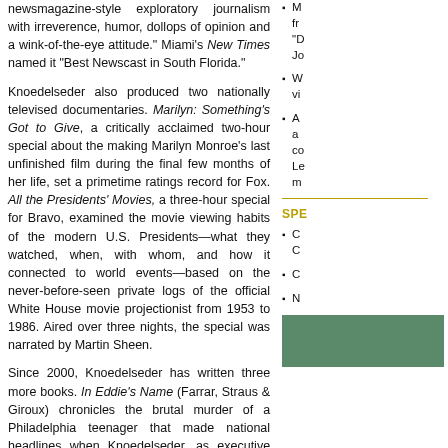newsmagazine-style exploratory journalism with irreverence, humor, dollops of opinion and a wink-of-the-eye attitude." Miami's New Times named it "Best Newscast in South Florida."
Knoedelseder also produced two nationally televised documentaries. Marilyn: Something's Got to Give, a critically acclaimed two-hour special about the making Marilyn Monroe's last unfinished film during the final few months of her life, set a primetime ratings record for Fox. All the Presidents' Movies, a three-hour special for Bravo, examined the movie viewing habits of the modern U.S. Presidents—what they watched, when, with whom, and how it connected to world events—based on the never-before-seen private logs of the official White House movie projectionist from 1953 to 1986. Aired over three nights, the special was narrated by Martin Sheen.
Since 2000, Knoedelseder has written three more books. In Eddie's Name (Farrar, Straus & Giroux) chronicles the brutal murder of a Philadelphia teenager that made national headlines when Knoedelseder, as executive producer of the Knight Ridder news program Inquirer News Tonight,pressured the city to make public the content of 911 tapes recorded the night of the killing, which ultimately revealed a complete breakdown of Philadelphia's emergency response system. I'm Dying Up Here: Heartbreak and High Times in Standup Comedy's Golden Era (Public Affairs/Perseus) recounts Knoedelseder's time as cub reporter covering the L.A. comedy
M... fr... "D... Jo...
W... vi...
A... a... co... Le... m...
SPE...
C... C...
C...
N...